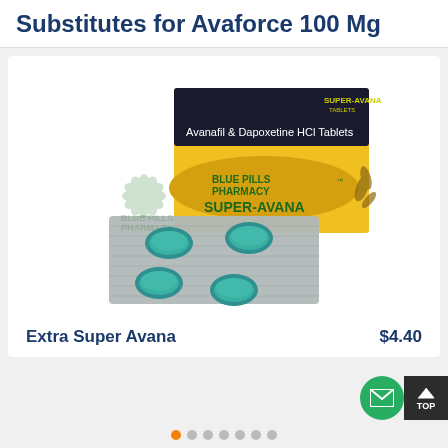Substitutes for Avaforce 100 Mg
[Figure (photo): Product photo of Extra Super Avana (Super-Avana): a blister pack with 4 teal/green tablets and a yellow-and-black box labeled 'SUPER-AVANA TABLET – Avanafil & Dapoxetine HCI Tablets', with a Blue Pills Pharmacy watermark overlay.]
Extra Super Avana    $4.40
[Figure (other): Pagination dots: one orange dot and six grey dots at the bottom of the page.]